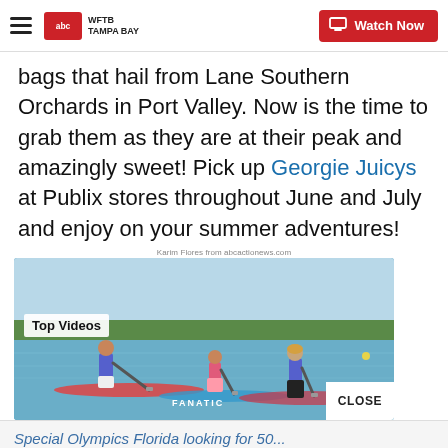WFTB TAMPA BAY | Watch Now
bags that hail from Lane Southern Orchards in Port Valley. Now is the time to grab them as they are at their peak and amazingly sweet! Pick up Georgie Juicys at Publix stores throughout June and July and enjoy on your summer adventures!
Karim Flores from abcactionews.com
[Figure (screenshot): Top Videos thumbnail showing three people paddle boarding on a lake, with a 'Top Videos' label overlay and a 'CLOSE' button in the bottom right corner. The boards include one branded 'FANATIC'.]
ADVERTISEMENT
Special Olympics Florida looking for 50...